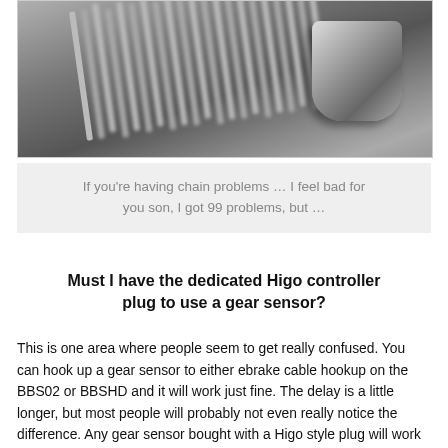[Figure (photo): Close-up black and white photograph of a bicycle rear derailleur, chain, cassette, and spokes.]
If you're having chain problems … I feel bad for you son, I got 99 problems, but …
Must I have the dedicated Higo controller plug to use a gear sensor?
This is one area where people seem to get really confused. You can hook up a gear sensor to either ebrake cable hookup on the BBS02 or BBSHD and it will work just fine. The delay is a little longer, but most people will probably not even really notice the difference. Any gear sensor bought with a Higo style plug will work with ANY BBS02 or BBSHD on the market.